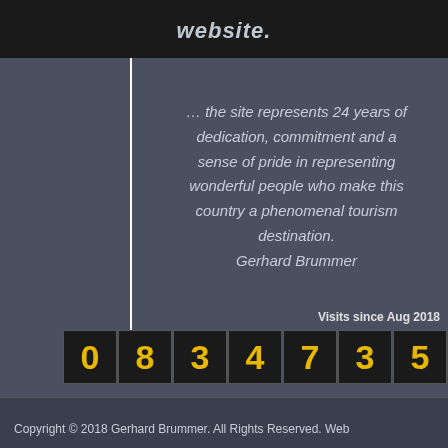website.
… the site represents 24 years of dedication, commitment and a sense of pride in representing wonderful people who make this country a phenomenal tourism destination. Gerhard Brummer
Visits since Aug 2018
[Figure (other): Visit counter showing digits: 0 8 3 4 7 3 5]
Copyright © 2018 Gerhard Brummer. All Rights Reserved. Web